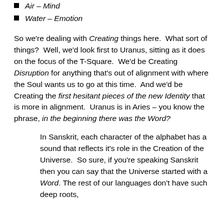Air – Mind
Water – Emotion
So we're dealing with Creating things here.  What sort of things?  Well, we'd look first to Uranus, sitting as it does on the focus of the T-Square.  We'd be Creating Disruption for anything that's out of alignment with where the Soul wants us to go at this time.  And we'd be Creating the first hesitant pieces of the new Identity that is more in alignment.  Uranus is in Aries – you know the phrase, in the beginning there was the Word?
In Sanskrit, each character of the alphabet has a sound that reflects it's role in the Creation of the Universe.  So sure, if you're speaking Sanskrit then you can say that the Universe started with a Word.  The rest of our languages don't have such deep roots,